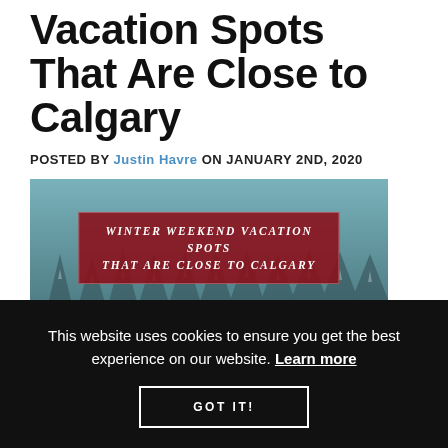Vacation Spots That Are Close to Calgary
POSTED BY Justin Havre ON JANUARY 2ND, 2020
[Figure (photo): Winter aerial photo of snow-covered trees with a dark red banner overlay reading WINTER WEEKEND VACATION SPOTS THAT ARE CLOSE TO CALGARY, with Calgary watermark in bottom right]
This website uses cookies to ensure you get the best experience on our website. Learn more
GOT IT!